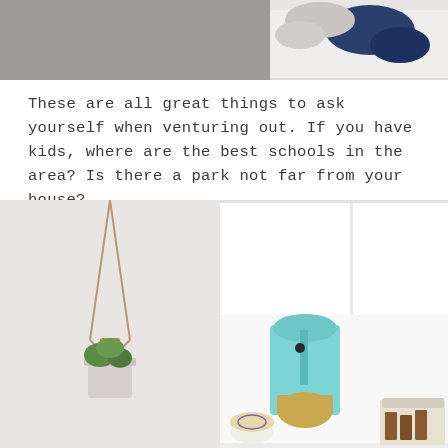[Figure (photo): Top portion of a photo showing laundry or clothing items on a white fluffy surface, partially cropped at the top of the page]
These are all great things to ask yourself when venturing out. If you have kids, where are the best schools in the area? Is there a park not far from your house?
[Figure (photo): Two side-by-side images: left shows a hanging planter with a plant on a white/grey background; right shows white kitchen shelving with a teal KitchenAid stand mixer, a decorative bowl, and baked goods in a container]